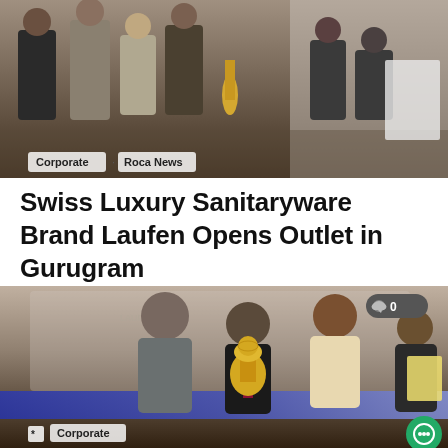[Figure (photo): Group of people at what appears to be a corporate event or inauguration ceremony, with tags 'Corporate' and 'Roca News' overlaid at the bottom left]
Corporate · Roca News
Swiss Luxury Sanitaryware Brand Laufen Opens Outlet in Gurugram
[Figure (photo): Three men holding a golden trophy award at a corporate event, with a fourth man in background holding a certificate. Blue banner visible in background. Comment badge showing '0' in top right. 'Corporate' tag at bottom left.]
Corporate